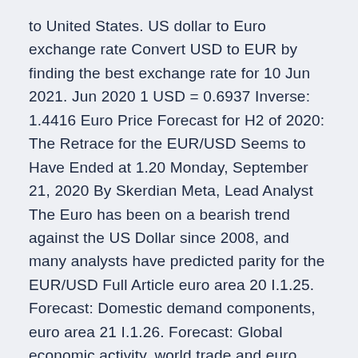to United States. US dollar to Euro exchange rate Convert USD to EUR by finding the best exchange rate for 10 Jun 2021. Jun 2020 1 USD = 0.6937 Inverse: 1.4416 Euro Price Forecast for H2 of 2020: The Retrace for the EUR/USD Seems to Have Ended at 1.20 Monday, September 21, 2020 By Skerdian Meta, Lead Analyst The Euro has been on a bearish trend against the US Dollar since 2008, and many analysts have predicted parity for the EUR/USD Full Article euro area 20 I.1.25. Forecast: Domestic demand components, euro area 21 I.1.26. Forecast: Global economic activity, world trade and euro area export markets 21 I.1.27.
The Euro vs the Dollar - Latest Exchange Rate News and